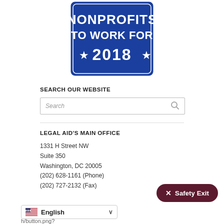[Figure (logo): Blue badge/seal with white text reading 'NONPROFITS TO WORK FOR 2018' with stars]
SEARCH OUR WEBSITE
[Figure (screenshot): Search input box with placeholder text 'Search' and a magnifying glass icon]
LEGAL AID'S MAIN OFFICE
1331 H Street NW
Suite 350
Washington, DC 20005
(202) 628-1161 (Phone)
(202) 727-2132 (Fax)
[Figure (screenshot): Dark red/maroon 'Safety Exit' button with X mark]
[Figure (screenshot): Language selector showing US flag and 'English' with dropdown chevron]
h/button.png?